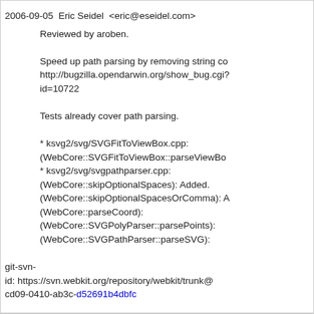2006-09-05  Eric Seidel  <eric@eseidel.com>
Reviewed by aroben.
Speed up path parsing by removing string co... http://bugzilla.opendarwin.org/show_bug.cgi?id=10722
Tests already cover path parsing.
* ksvg2/svg/SVGFitToViewBox.cpp:
(WebCore::SVGFitToViewBox::parseViewBo...
* ksvg2/svg/svgpathparser.cpp:
(WebCore::skipOptionalSpaces): Added.
(WebCore::skipOptionalSpacesOrComma): A...
(WebCore::parseCoord):
(WebCore::SVGPolyParser::parsePoints):
(WebCore::SVGPathParser::parseSVG):
git-svn-id: https://svn.webkit.org/repository/webkit/trunk@cd09-0410-ab3c-d52691b4dbfc
15 years ago
Reviewed by Tim H.
commit | commitdiff | tree (02:59 +0000)
weinig [Wed, 6 Sep 2006 02:59:41 +0000
Reviewed by Tim H.